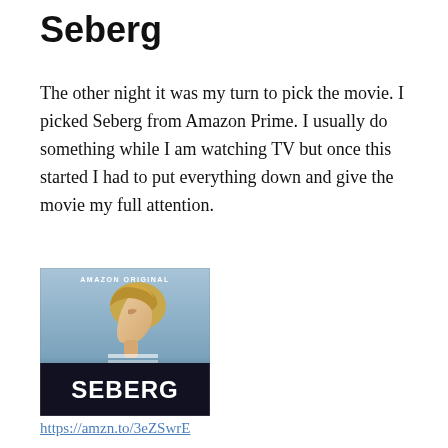Seberg
The other night it was my turn to pick the movie. I picked Seberg from Amazon Prime. I usually do something while I am watching TV but once this started I had to put everything down and give the movie my full attention.
[Figure (photo): Movie poster for 'Seberg' — Amazon Original. Shows a woman with short blonde hair in profile view wearing a striped top, with the title SEBERG in large bold letters at the bottom.]
https://amzn.to/3eZSwrE